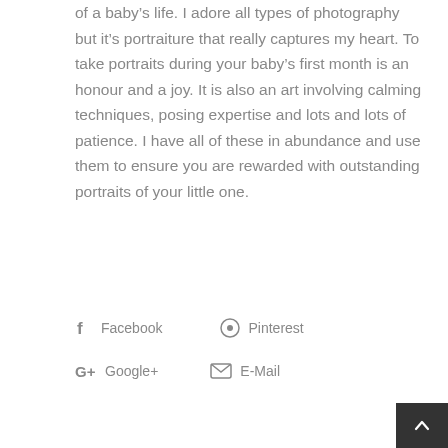of a baby's life. I adore all types of photography but it's portraiture that really captures my heart. To take portraits during your baby's first month is an honour and a joy. It is also an art involving calming techniques, posing expertise and lots and lots of patience. I have all of these in abundance and use them to ensure you are rewarded with outstanding portraits of your little one.
Facebook
Pinterest
Google+
E-Mail